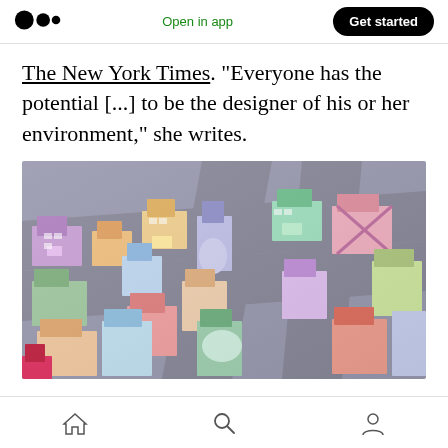Medium app header with logo, Open in app, Get started
The New York Times. “Everyone has the potential [...] to be the designer of his or her environment,” she writes.
[Figure (illustration): Colorful illustrated aerial/isometric view of a dense urban cityscape with buildings, streets, and detailed cartoon-style art in pastel and vibrant colors.]
Bottom navigation bar with home, search, and profile icons